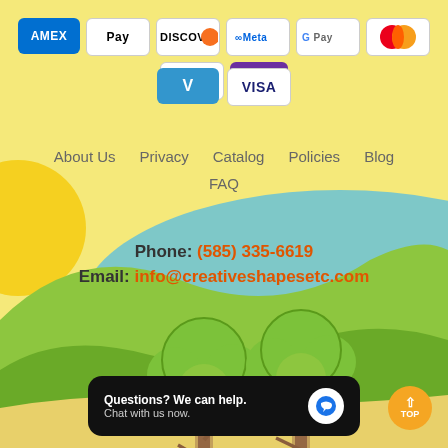[Figure (illustration): Website footer with payment method icons (AMEX, Apple Pay, Discover, Meta, Google Pay, Mastercard, PayPal, DPay, Venmo, VISA), navigation links (About Us, Privacy, Catalog, Policies, Blog, FAQ), contact info (Phone: (585) 335-6619, Email: info@creativeshapesetc.com), decorative landscape background with rolling green hills, sun, and two illustrated trees, copyright notice, chat widget, and TOP button.]
AMEX | Apple Pay | DISCOVER | Meta | G Pay | Mastercard | PayPal | DPay | Venmo | VISA
About Us
Privacy
Catalog
Policies
Blog
FAQ
Phone: (585) 335-6619
Email: info@creativeshapesetc.com
Copyright © 2022 Creative Shapes Etc. All Rights Reserved.
Questions? We can help. Chat with us now.